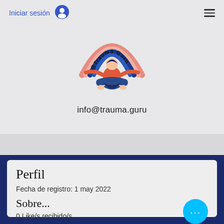Iniciar sesión
[Figure (logo): Trauma.Guru logo: a figure meditating in lotus pose beneath a rainbow arc with text @Trauma.Guru arched over it]
info@trauma.guru
Perfil
Fecha de registro: 1 may 2022
Sobre...
0 Like/s recibido/s